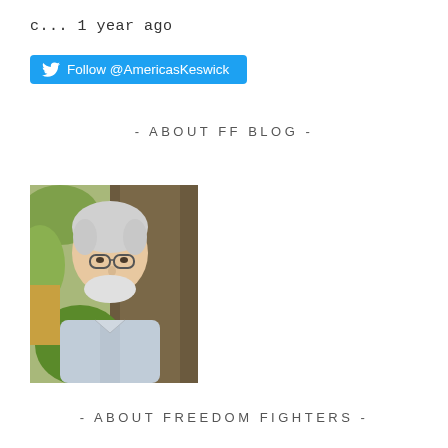c... 1 year ago
Follow @AmericasKeswick
- ABOUT FF BLOG -
[Figure (photo): Portrait photo of an elderly man with white hair and glasses, smiling, wearing a light blue shirt, photographed outdoors against a tree with green foliage in the background.]
- ABOUT FREEDOM FIGHTERS -